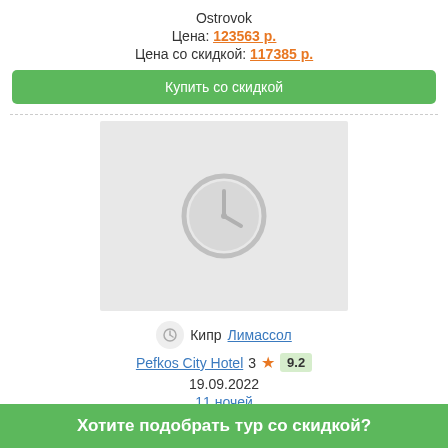Ostrovok
Цена: 123563 р.
Цена со скидкой: 117385 р.
Купить со скидкой
[Figure (illustration): Loading/placeholder image with clock icon in grey]
Кипр  Лимассол
Pefkos City Hotel  3 ★  9.2
19.09.2022
11 ночей
Взрослых: 1
Хотите подобрать тур со скидкой?